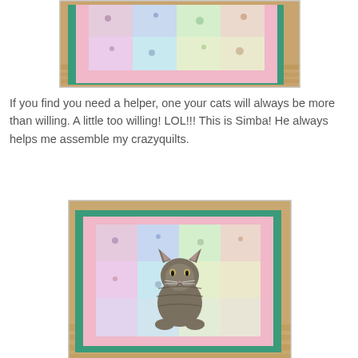[Figure (photo): Top portion of a quilt with pink satin border and colorful patterned fabric center, laid on a wooden floor with a green cutting mat underneath. Photo is cropped at top.]
If you find you need a helper, one your cats will always be more than willing.  A little too willing!  LOL!!!  This is Simba!  He always helps me assemble my crazyquilts.
[Figure (photo): A tabby cat named Simba sitting in the center of a quilt with a pink satin border and colorful patterned fabric, laid on a wooden floor with a green cutting mat underneath.]
To make the sleeve for my quilt, I cut a piece of the backing fabric about 2 inches narrower than the width of the quilt.